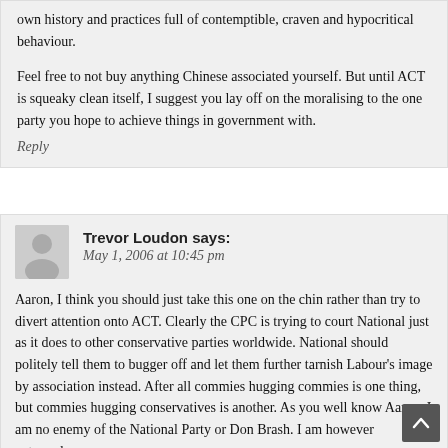own history and practices full of contemptible, craven and hypocritical behaviour.
Feel free to not buy anything Chinese associated yourself. But until ACT is squeaky clean itself, I suggest you lay off on the moralising to the one party you hope to achieve things in government with.
Reply
Trevor Loudon says: May 1, 2006 at 10:45 pm
Aaron, I think you should just take this one on the chin rather than try to divert attention onto ACT. Clearly the CPC is trying to court National just as it does to other conservative parties worldwide. National should politely tell them to bugger off and let them further tarnish Labour's image by association instead. After all commies hugging commies is one thing, but commies hugging conservatives is another. As you well know Aaron, I am no enemy of the National Party or Don Brash. I am however extremely